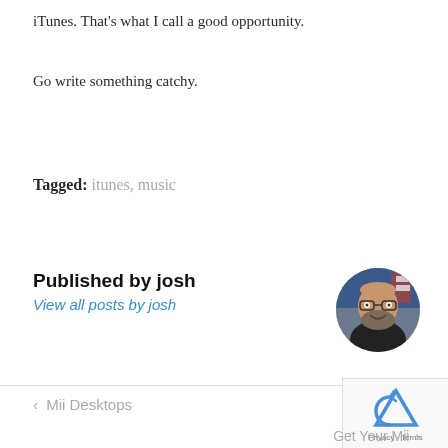iTunes. That’s what I call a good opportunity.
Go write something catchy.
Tagged:  itunes,  music
Published by josh
View all posts by josh
[Figure (photo): Circular avatar photo of Josh, a bearded man with glasses in a dark shirt, with a store background]
<  Mii Desktops
Get Your Mii  >